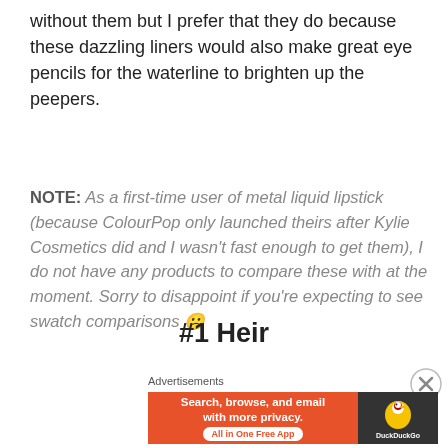without them but I prefer that they do because these dazzling liners would also make great eye pencils for the waterline to brighten up the peepers.
NOTE: As a first-time user of metal liquid lipstick (because ColourPop only launched theirs after Kylie Cosmetics did and I wasn't fast enough to get them), I do not have any products to compare these with at the moment. Sorry to disappoint if you're expecting to see swatch comparisons 😕
#1 Heir
Advertisements
[Figure (other): DuckDuckGo advertisement banner: orange background with text 'Search, browse, and email with more privacy. All in One Free App' and DuckDuckGo logo on dark right panel]